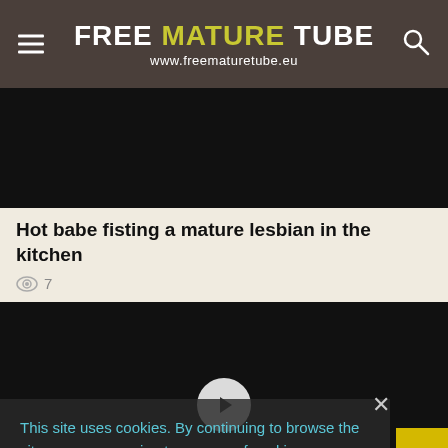FREE MATURE TUBE www.freematuretube.eu
[Figure (screenshot): Black video thumbnail area at top]
Hot babe fisting a mature lesbian in the kitchen
7 views
[Figure (screenshot): Black video player with white circular play button in center]
This site uses cookies. By continuing to browse the site you are agreeing to our use of cookies.